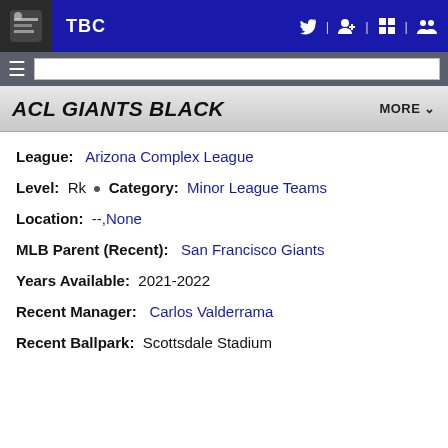TBC
ACL GIANTS BLACK
League: Arizona Complex League
Level: Rk • Category: Minor League Teams
Location: --,None
MLB Parent (Recent): San Francisco Giants
Years Available: 2021-2022
Recent Manager: Carlos Valderrama
Recent Ballpark: Scottsdale Stadium